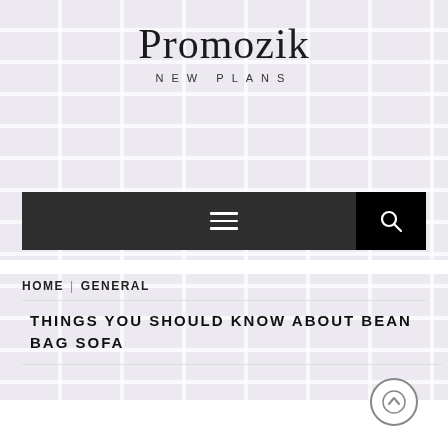Promozik
NEW PLANS
[Figure (screenshot): Navigation bar with hamburger menu icon on dark background and black search button with magnifying glass icon on the right]
HOME | GENERAL
THINGS YOU SHOULD KNOW ABOUT BEAN BAG SOFA
[Figure (other): Scroll to top circular arrow button]